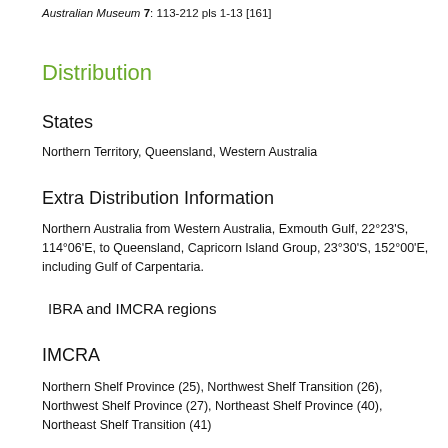Australian Museum 7: 113-212 pls 1-13 [161]
Distribution
States
Northern Territory, Queensland, Western Australia
Extra Distribution Information
Northern Australia from Western Australia, Exmouth Gulf, 22°23'S, 114°06'E, to Queensland, Capricorn Island Group, 23°30'S, 152°00'E, including Gulf of Carpentaria.
IBRA and IMCRA regions
IMCRA
Northern Shelf Province (25), Northwest Shelf Transition (26), Northwest Shelf Province (27), Northeast Shelf Province (40), Northeast Shelf Transition (41)